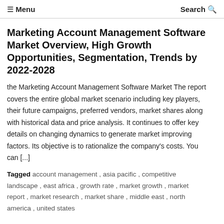☰ Menu   Search 🔍
Marketing Account Management Software Market Overview, High Growth Opportunities, Segmentation, Trends by 2022-2028
the Marketing Account Management Software Market The report covers the entire global market scenario including key players, their future campaigns, preferred vendors, market shares along with historical data and price analysis. It continues to offer key details on changing dynamics to generate market improving factors. Its objective is to rationalize the company's costs. You can [...]
Tagged account management , asia pacific , competitive landscape , east africa , growth rate , market growth , market report , market research , market share , middle east , north america , united states